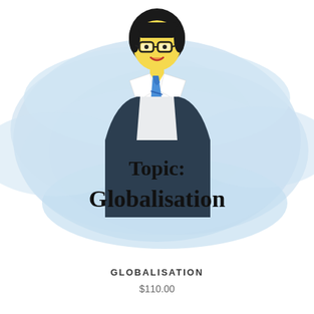[Figure (illustration): Cartoon illustration of a businessman with glasses and a blue striped tie, shown from the waist up, overlaid on a light blue watercolor/brushstroke background. Text on the brushstroke reads 'Topic: Globalisation' in bold black serif font.]
GLOBALISATION
$110.00